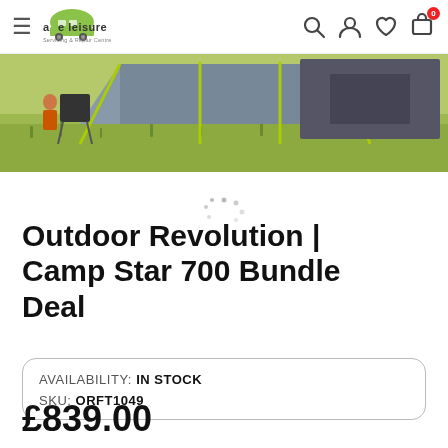a&e leisure – navigation header with hamburger menu, logo, search, account, wishlist, cart icons
[Figure (photo): Outdoor camping scene showing a camp shelter/awning with folding chairs on grass, bottom portion of product image]
[Figure (other): Loading spinner dots (circular progress indicator)]
Outdoor Revolution | Camp Star 700 Bundle Deal
AVAILABILITY: IN STOCK
SKU: ORFT1049
£839.00